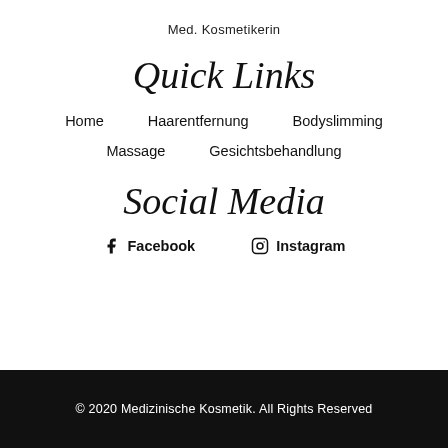Med. Kosmetikerin
Quick Links
Home
Haarentfernung
Bodyslimming
Massage
Gesichtsbehandlung
Social Media
Facebook
Instagram
© 2020 Medizinische Kosmetik. All Rights Reserved